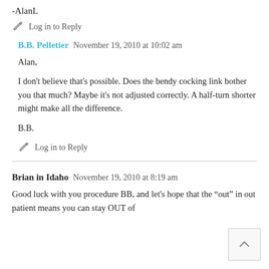-AlanL
✏ Log in to Reply
B.B. Pelletier  November 19, 2010 at 10:02 am
Alan,

I don't believe that's possible. Does the bendy cocking link bother you that much? Maybe it's not adjusted correctly. A half-turn shorter might make all the difference.

B.B.
✏ Log in to Reply
Brian in Idaho  November 19, 2010 at 8:19 am
Good luck with you procedure BB, and let's hope that the "out" in out patient means you can stay OUT of